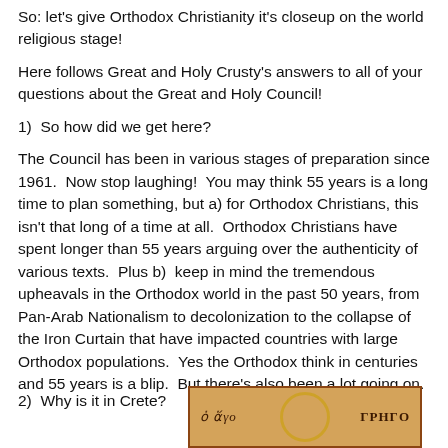So:  let's give Orthodox Christianity it's closeup on the world religious stage!
Here follows Great and Holy Crusty's answers to all of your questions about the Great and Holy Council!
1)  So how did we get here?
The Council has been in various stages of preparation since 1961.  Now stop laughing!  You may think 55 years is a long time to plan something, but a) for Orthodox Christians, this isn't that long of a time at all.  Orthodox Christians have spent longer than 55 years arguing over the authenticity of various texts.  Plus b)  keep in mind the tremendous upheavals in the Orthodox world in the past 50 years, from Pan-Arab Nationalism to decolonization to the collapse of the Iron Curtain that have impacted countries with large Orthodox populations.  Yes the Orthodox think in centuries and 55 years is a blip.  But there's also been a lot going on.
2)  Why is it in Crete?
[Figure (photo): Partial view of an Orthodox icon or sign with Greek text reading 'o Agio' on the left and 'GRHGO' on the right, with a golden halo/circle in the center, brown frame border, on a golden-brown background.]